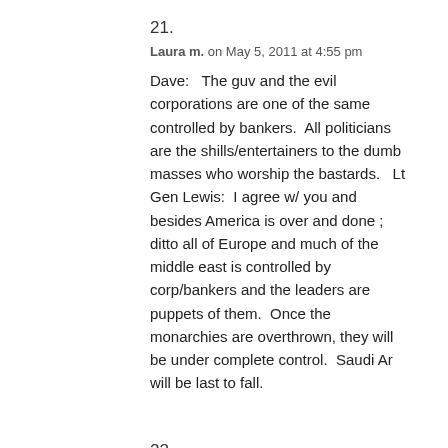21.
Laura m. on May 5, 2011 at 4:55 pm
Dave:   The guv and the evil corporations are one of the same  controlled by bankers.  All politicians are the shills/entertainers to the dumb masses who worship the bastards.   Lt Gen Lewis:  I agree w/ you and besides America is over and done ; ditto all of Europe and much of the middle east is controlled by corp/bankers and the leaders are puppets of them.  Once the monarchies are overthrown, they will be under complete control.  Saudi Ar will be last to fall.
22.
Durango Kidd on May 5, 2011 at 5:09 pm
Put a piece of black masking tape over your laptop camera. Never use a store card. I managed to get one